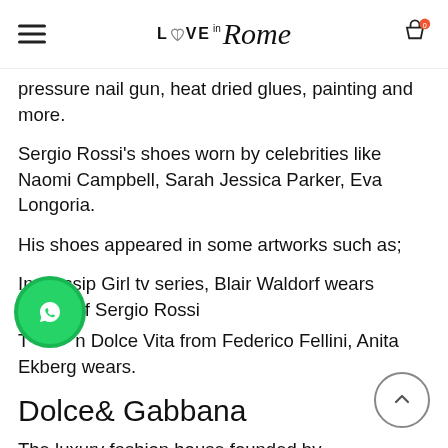LOVE in Rome
pressure nail gun, heat dried glues, painting and more.
Sergio Rossi's shoes worn by celebrities like Naomi Campbell, Sarah Jessica Parker, Eva Longoria.
His shoes appeared in some artworks such as;
In Gossip Girl tv series, Blair Waldorf wears a pair of Sergio Rossi
The La Dolce Vita from Federico Fellini, Anita Ekberg wears.
Dolce& Gabbana
The luxury fashion house founded by Italian designers Stefano Gabbana and...